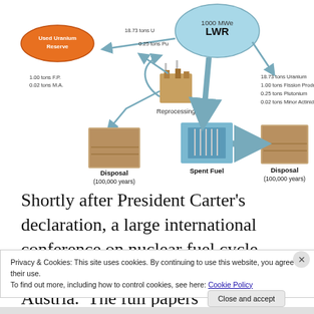[Figure (flowchart): Nuclear fuel cycle diagram showing 1000 MWe LWR with reprocessing (European recycle) and direct disposal (U.S. policy) paths. Shows mass flows: 18.73 tons U, 0.25 tons Pu to Used Uranium Reserve; 1.00 tons F.P., 0.02 tons M.A. to Disposal (100,000 years); Spent Fuel contains 18.73 tons Uranium, 1.00 tons Fission Products, 0.25 tons Plutonium, 0.02 tons Minor Actinides; European recycle saves 15% uranium but no reduction in waste life; Direct disposal is the current U.S. policy.]
Shortly after President Carter's declaration, a large international conference on nuclear fuel cycle development was held in Salzburg, Austria. The full papers
Privacy & Cookies: This site uses cookies. By continuing to use this website, you agree to their use.
To find out more, including how to control cookies, see here: Cookie Policy